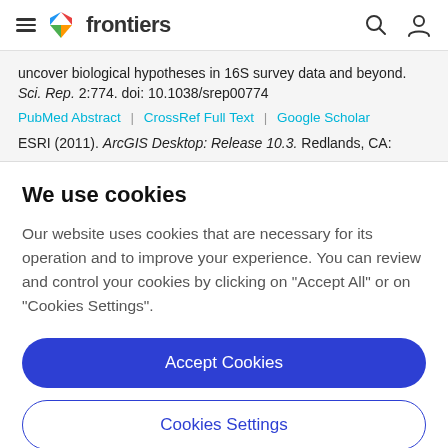frontiers
uncover biological hypotheses in 16S survey data and beyond. Sci. Rep. 2:774. doi: 10.1038/srep00774
PubMed Abstract | CrossRef Full Text | Google Scholar
ESRI (2011). ArcGIS Desktop: Release 10.3. Redlands, CA:
We use cookies
Our website uses cookies that are necessary for its operation and to improve your experience. You can review and control your cookies by clicking on "Accept All" or on "Cookies Settings".
Accept Cookies
Cookies Settings